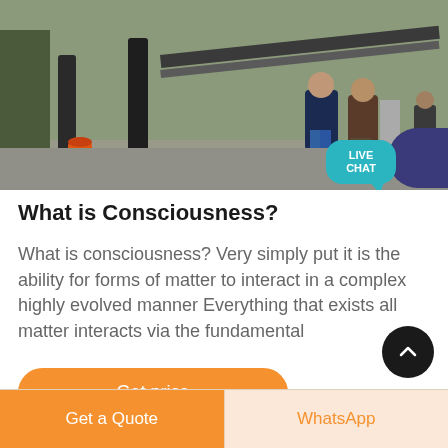[Figure (photo): Outdoor industrial/construction scene with workers and conveyor equipment. Two workers visible from behind in center-right, one in dark jacket and jeans. Various machinery and posts in background. Orange canister on left. Live Chat speech bubble overlay in lower right of photo area.]
What is Consciousness?
What is consciousness? Very simply put it is the ability for forms of matter to interact in a complex highly evolved manner Everything that exists all matter interacts via the fundamental
Get price
Get a Quote
WhatsApp